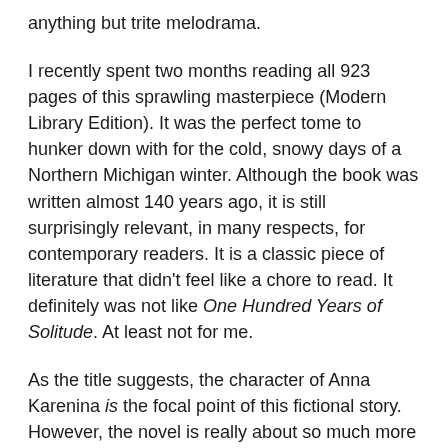anything but trite melodrama.
I recently spent two months reading all 923 pages of this sprawling masterpiece (Modern Library Edition). It was the perfect tome to hunker down with for the cold, snowy days of a Northern Michigan winter. Although the book was written almost 140 years ago, it is still surprisingly relevant, in many respects, for contemporary readers. It is a classic piece of literature that didn't feel like a chore to read. It definitely was not like One Hundred Years of Solitude. At least not for me.
As the title suggests, the character of Anna Karenina is the focal point of this fictional story. However, the novel is really about so much more than the consequences of one aristocratic woman's adulterous affair. Tolstoy's artistic prose weaves together a large and complex tapestry of characters, themes and plot lines, all set against the backdrop of late nineteenth century Russian society. In reading this book, at times it did feel somewhat like reading an op-ed piece. Tolstoy shared his own opinions- through the voices of the seven main characters- to expound upon his